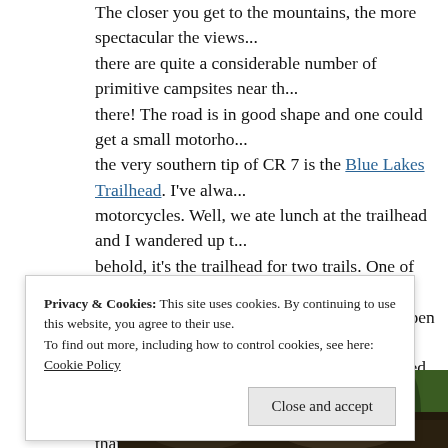The closer you get to the mountains, the more spectacular the views... there are quite a considerable number of primitive campsites near there! The road is in good shape and one could get a small motorhome... the very southern tip of CR 7 is the Blue Lakes Trailhead. I've always... motorcycles. Well, we ate lunch at the trailhead and I wandered up t... behold, it's the trailhead for two trails. One of them, Dallas Trail 200... (The other one, the true Blue Lakes trail, is open only to hiking.) Ne... Trail. We got partway up when we encountered logs fallen across the... and explored a little further, at one point finding that the creek and t... Definitely this trail bears investigating! According to the Forest Serv... 5. (Note that Dallas Trail to the west is not open to motorcycles.)
[Figure (photo): Forest scene with tall conifer trees, dense green foliage, dark tones]
•
Privacy & Cookies: This site uses cookies. By continuing to use this website, you agree to their use.
To find out more, including how to control cookies, see here: Cookie Policy
Close and accept
[Figure (photo): Partial bottom photo, dark tones showing rocky or outdoor scene]